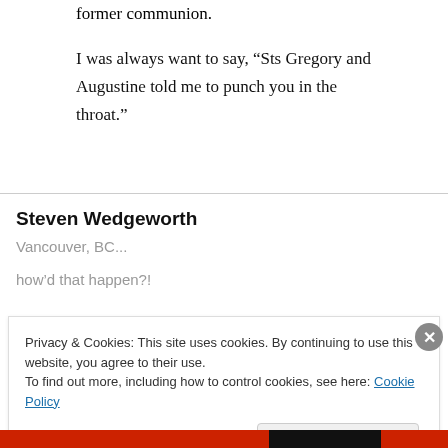former communion.
I was always want to say, “Sts Gregory and Augustine told me to punch you in the throat.”
Steven Wedgeworth
Vancouver, BC...
how’d that happen?!
Privacy & Cookies: This site uses cookies. By continuing to use this website, you agree to their use. To find out more, including how to control cookies, see here: Cookie Policy
Close and accept